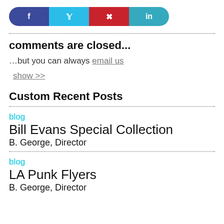[Figure (other): Social share buttons bar with Facebook (dark blue), Twitter (cyan), Pinterest (red), LinkedIn (teal) icons]
comments are closed...
…but you can always email us
show >>
Custom Recent Posts
blog
Bill Evans Special Collection
B. George, Director
blog
LA Punk Flyers
B. George, Director